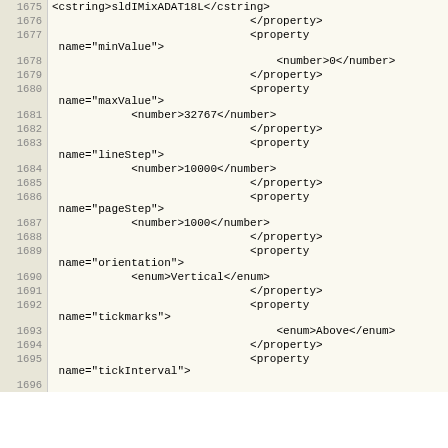| line | code |
| --- | --- |
| 1675 | <cstring>sldIMixADAT18L</cstring> |
| 1676 |                               </property> |
| 1677 |                               <property
 name="minValue"> |
| 1678 |                                   <number>0</number> |
| 1679 |                               </property> |
| 1680 |                               <property
 name="maxValue"> |
| 1681 |             <number>32767</number> |
| 1682 |                               </property> |
| 1683 |                               <property
 name="lineStep"> |
| 1684 |             <number>10000</number> |
| 1685 |                               </property> |
| 1686 |                               <property
 name="pageStep"> |
| 1687 |             <number>1000</number> |
| 1688 |                               </property> |
| 1689 |                               <property
 name="orientation"> |
| 1690 |             <enum>Vertical</enum> |
| 1691 |                               </property> |
| 1692 |                               <property
 name="tickmarks"> |
| 1693 |                                   <enum>Above</enum> |
| 1694 |                               </property> |
| 1695 |                               <property
 name="tickInterval"> |
| 1696 |  |